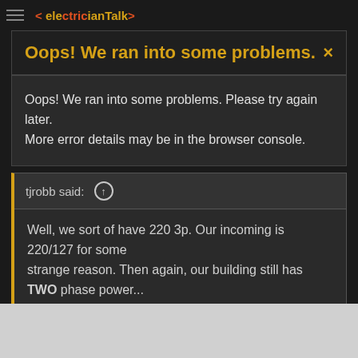[Figure (screenshot): Top navigation bar with hamburger menu icon and partially visible logo with red/orange colors]
Oops! We ran into some problems.
Oops! We ran into some problems. Please try again later. More error details may be in the browser console.
tjrobb said: ↑
Well, we sort of have 220 3p. Our incoming is 220/127 for some strange reason. Then again, our building still has TWO phase power...
This site uses cookies to help personalise content, tailor your experience and to keep you logged in if you register.
By continuing to use this site, you are consenting to our use of cookies.
✓ Accept   Learn more...